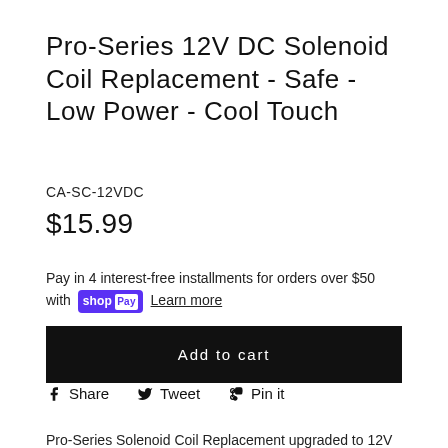Pro-Series 12V DC Solenoid Coil Replacement - Safe - Low Power - Cool Touch
CA-SC-12VDC
$15.99
Pay in 4 interest-free installments for orders over $50 with Shop Pay Learn more
Add to cart
Share  Tweet  Pin it
Pro-Series Solenoid Coil Replacement upgraded to 12V